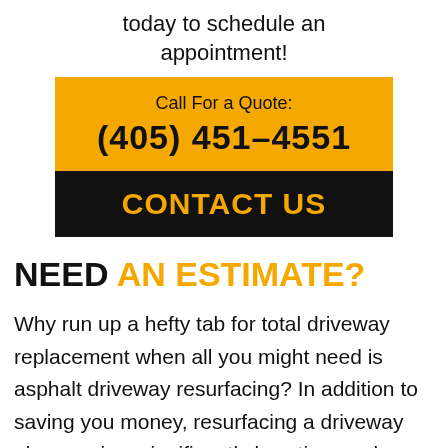today to schedule an appointment!
[Figure (infographic): Orange and black call-to-action box with phone number and contact us button]
NEED AN ESTIMATE?
Why run up a hefty tab for total driveway replacement when all you might need is asphalt driveway resurfacing? In addition to saving you money, resurfacing a driveway also requires significantly less time and turmoil